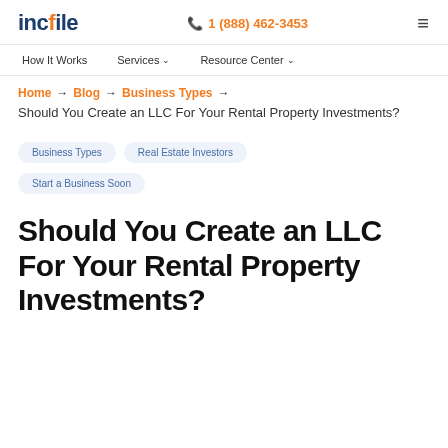incfile | 1 (888) 462-3453
How It Works | Services | Resource Center
Home → Blog → Business Types → Should You Create an LLC For Your Rental Property Investments?
Business Types
Real Estate Investors
Start a Business Soon
Should You Create an LLC For Your Rental Property Investments?